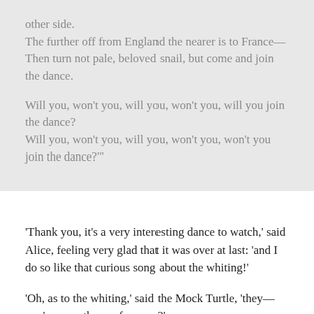other side.
The further off from England the nearer is to France—
Then turn not pale, beloved snail, but come and join the dance.

Will you, won't you, will you, won't you, will you join the dance?
Will you, won't you, will you, won't you, won't you join the dance?"'
'Thank you, it's a very interesting dance to watch,' said Alice, feeling very glad that it was over at last: 'and I do so like that curious song about the whiting!'
'Oh, as to the whiting,' said the Mock Turtle, 'they—you've seen them, of course?'